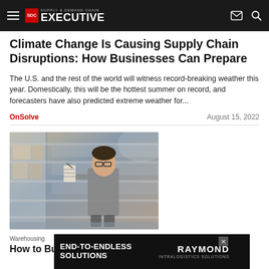Supply & Demand Chain Executive
Climate Change Is Causing Supply Chain Disruptions: How Businesses Can Prepare
The U.S. and the rest of the world will witness record-breaking weather this year. Domestically, this will be the hottest summer on record, and forecasters have also predicted extreme weather for...
OnSolve           August 15, 2022
[Figure (photo): A man in a grey shirt holding a clipboard looking up at warehouse shelving stacked with boxes and packages]
Warehousing
How to Build Your Supply Chain Through Peak
[Figure (other): Advertisement banner: END-TO-ENDLESS SOLUTIONS | RAYMOND INTRALOGISTICS SOLUTIONS]